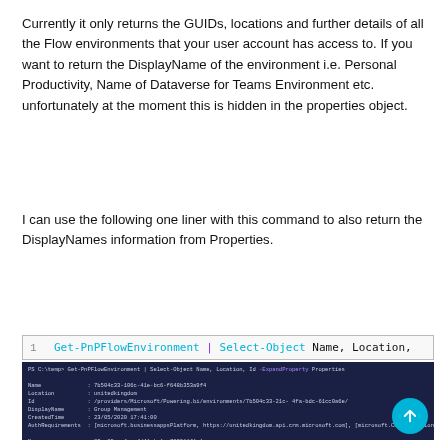Currently it only returns the GUIDs, locations and further details of all the Flow environments that your user account has access to. If you want to return the DisplayName of the environment i.e. Personal Productivity, Name of Dataverse for Teams Environment etc. unfortunately at the moment this is hidden in the properties object.
I can use the following one liner with this command to also return the DisplayNames information from Properties.
1  Get-PnPFlowEnvironment | Select-Object Name, Location,
[Figure (screenshot): PowerShell terminal output showing results of Get-PnPFlowEnvironment command with Name, Location, Id, DisplayName, CreatedTime, and AuthenticationRequirements fields for multiple Flow environments]